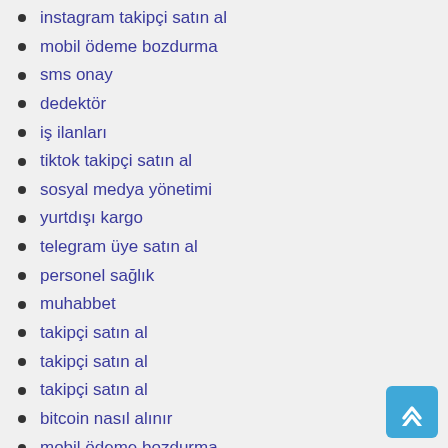instagram takipçi satın al
mobil ödeme bozdurma
sms onay
dedektör
iş ilanları
tiktok takipçi satın al
sosyal medya yönetimi
yurtdışı kargo
telegram üye satın al
personel sağlık
muhabbet
takipçi satın al
takipçi satın al
takipçi satın al
bitcoin nasıl alınır
mobil ödeme bozdurma
okex kayıt
ehliyet sınav soruları